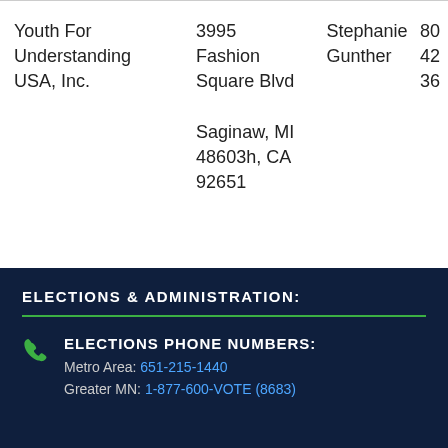| Organization | Address | Contact | Phone |
| --- | --- | --- | --- |
| Youth For Understanding USA, Inc. | 3995 Fashion Square Blvd
Saginaw, MI 48603h, CA 92651 | Stephanie Gunther | 80...
42...
36... |
ELECTIONS & ADMINISTRATION:
ELECTIONS PHONE NUMBERS:
Metro Area: 651-215-1440
Greater MN: 1-877-600-VOTE (8683)